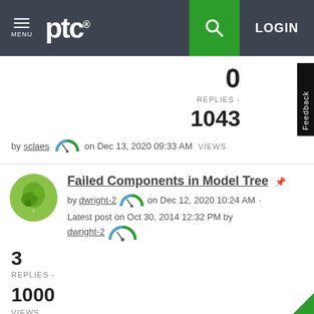PTC - MENU | LOGIN
0 REPLIES · 1043 VIEWS by sclaes on Dec 13, 2020 09:33 AM
Failed Components in Model Tree by dwright-2 on Dec 12, 2020 10:24 AM · Latest post on Oct 30, 2014 12:32 PM by dwright-2
3 REPLIES · 1000 VIEWS